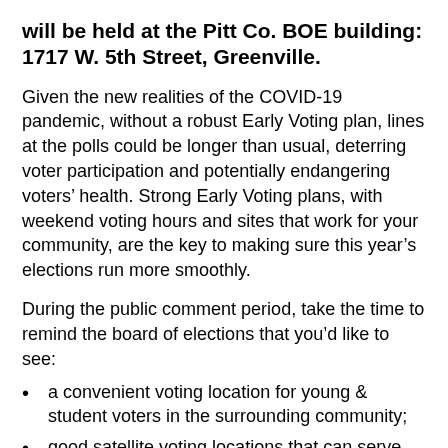will be held at the Pitt Co. BOE building: 1717 W. 5th Street, Greenville.
Given the new realities of the COVID-19 pandemic, without a robust Early Voting plan, lines at the polls could be longer than usual, deterring voter participation and potentially endangering voters’ health. Strong Early Voting plans, with weekend voting hours and sites that work for your community, are the key to making sure this year’s elections run more smoothly.
During the public comment period, take the time to remind the board of elections that you’d like to see:
a convenient voting location for young & student voters in the surrounding community;
good satellite voting locations that can serve underrepresented voters, including communities